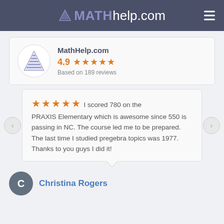MATHhelp.com
[Figure (logo): MathHelp.com logo with pyramid icon, 4.9 star rating based on 189 reviews]
★★★★★ I scored 780 on the PRAXIS Elementary which is awesome since 550 is passing in NC. The course led me to be prepared. The last time I studied pregebra topics was 1977. Thanks to you guys I did it!
Christina Rogers